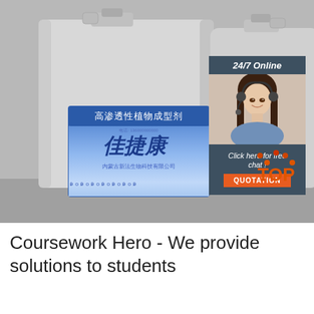[Figure (photo): Product photograph showing two large white plastic canisters/jerricans with blue Chinese labels reading '高渗透性植物成型剂' and '佳捷康' (Jiajiekang). An overlaid advertisement box in dark blue/slate shows '24/7 Online', a photo of a smiling woman with a headset, text 'Click here for free chat!', and an orange button reading 'QUOTATION'. A 'TOP' logo with orange/red dot arc appears in the lower right of the image.]
Coursework Hero - We provide solutions to students